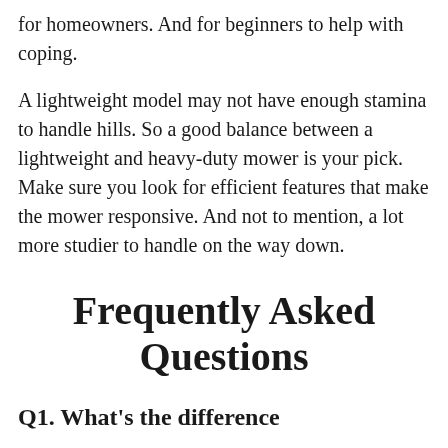for homeowners. And for beginners to help with coping.
A lightweight model may not have enough stamina to handle hills. So a good balance between a lightweight and heavy-duty mower is your pick. Make sure you look for efficient features that make the mower responsive. And not to mention, a lot more studier to handle on the way down.
Frequently Asked Questions
Q1. What’s the difference